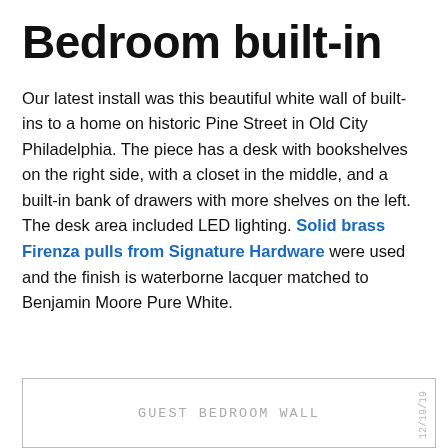Bedroom built-in
Our latest install was this beautiful white wall of built-ins to a home on historic Pine Street in Old City Philadelphia. The piece has a desk with bookshelves on the right side, with a closet in the middle, and a built-in bank of drawers with more shelves on the left. The desk area included LED lighting. Solid brass Firenza pulls from Signature Hardware were used and the finish is waterborne lacquer matched to Benjamin Moore Pure White.
[Figure (illustration): Hand-drawn architectural sketch of a wall unit labeled 'Guest Bedroom Wall' with a date notation on the right side.]